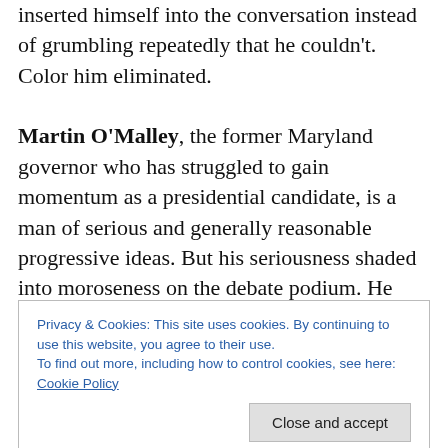inserted himself into the conversation instead of grumbling repeatedly that he couldn't. Color him eliminated.
Martin O'Malley, the former Maryland governor who has struggled to gain momentum as a presidential candidate, is a man of serious and generally reasonable progressive ideas. But his seriousness shaded into moroseness on the debate podium. He gained strength toward the end, but he could use a shot of ebullience if he wants to connect with the electorate and rise in the polls. Maybe he and Donald Trump should be lined up side-by-side for a partial ego transfusion: both men would benefit
Privacy & Cookies: This site uses cookies. By continuing to use this website, you agree to their use.
To find out more, including how to control cookies, see here: Cookie Policy
displayed a chivalrous streak, as he dismissed the